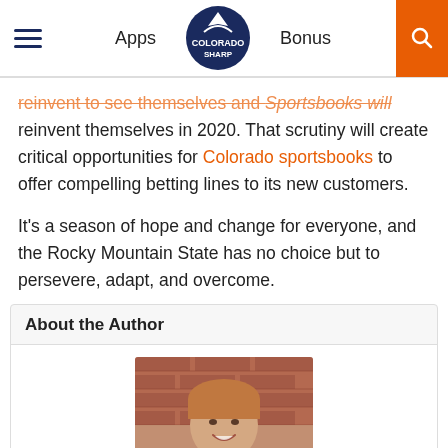Apps | Colorado Sharp | Bonus
reinvent themselves in 2020. That scrutiny will create critical opportunities for Colorado sportsbooks to offer compelling betting lines to its new customers.
It's a season of hope and change for everyone, and the Rocky Mountain State has no choice but to persevere, adapt, and overcome.
About the Author
[Figure (photo): Headshot of a young man with reddish-brown hair smiling, photographed against a brick wall background, wearing a dark suit.]